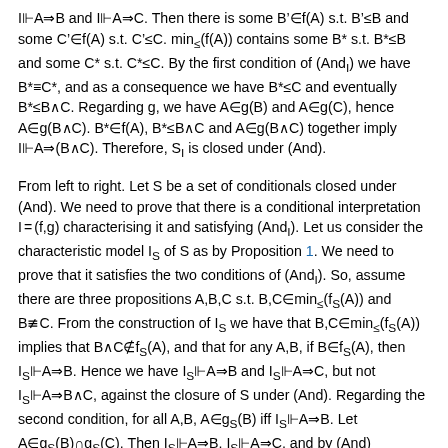I⊩A⇒B and I⊩A⇒C. Then there is some B'∈f(A) s.t. B'≤B and some C'∈f(A) s.t. C'≤C. min≤(f(A)) contains some B* s.t. B*≤B and some C* s.t. C*≤C. By the first condition of (AndI) we have B*≡C*, and as a consequence we have B*≤C and eventually B*≤B∧C. Regarding g, we have A∈g(B) and A∈g(C), hence A∈g(B∧C). B*∈f(A), B*≤B∧C and A∈g(B∧C) together imply I⊩A⇒(B∧C). Therefore, SI is closed under (And).
From left to right. Let S be a set of conditionals closed under (And). We need to prove that there is a conditional interpretation I=(f,g) characterising it and satisfying (AndI). Let us consider the characteristic model IS of S as by Proposition 1. We need to prove that it satisfies the two conditions of (AndI). So, assume there are three propositions A,B,C s.t. B,C∈min≤(fS(A)) and B≢C. From the construction of IS we have that B,C∈min≤(fS(A)) implies that B∧C∉fS(A), and that for any A,B, if B∈fS(A), then IS⊩A⇒B. Hence we have IS⊩A⇒B and IS⊩A⇒C, but not IS⊩A⇒B∧C, against the closure of S under (And). Regarding the second condition, for all A,B, A∈gS(B) iff IS⊩A⇒B. Let A∈gS(B)∩gS(C). Then IS⊩A⇒B, IS⊩A⇒C, and by (And) IS⊩A⇒B∧C, that implies A∈gS(B∧C), which